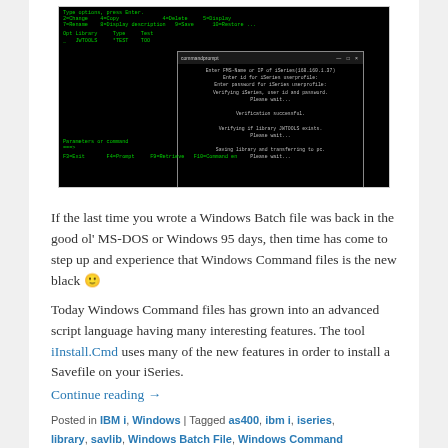[Figure (screenshot): Screenshot of an IBM iSeries green-on-black terminal interface with a Windows Command Prompt popup window overlay showing connection and library transfer messages]
If the last time you wrote a Windows Batch file was back in the good ol' MS-DOS or Windows 95 days, then time has come to step up and experience that Windows Command files is the new black 🙂
Today Windows Command files has grown into an advanced script language having many interesting features. The tool iInstall.Cmd uses many of the new features in order to install a Savefile on your iSeries.
Continue reading →
Posted in IBM i, Windows | Tagged as400, ibm i, iseries, library, savlib, Windows Batch File, Windows Command File